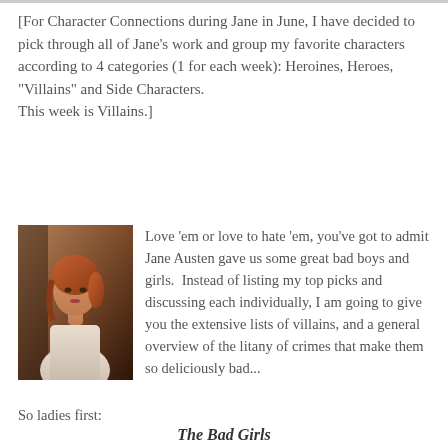[For Character Connections during Jane in June, I have decided to pick through all of Jane's work and group my favorite characters according to 4 categories (1 for each week): Heroines, Heroes, "Villains" and Side Characters.
This week is Villains.]
[Figure (photo): Portrait photo of a woman in period costume with auburn hair]
Love 'em or love to hate 'em, you've got to admit Jane Austen gave us some great bad boys and girls.  Instead of listing my top picks and discussing each individually, I am going to give you the extensive lists of villains, and a general overview of the litany of crimes that make them so deliciously bad...
So ladies first:
The Bad Girls